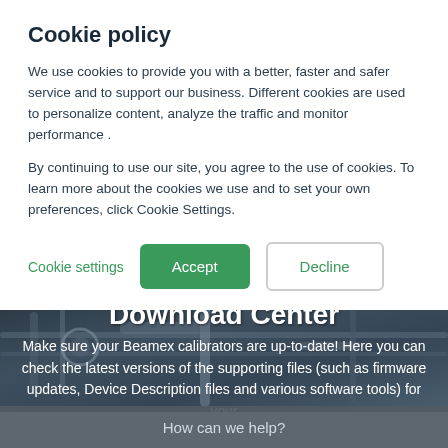Cookie policy
We use cookies to provide you with a better, faster and safer service and to support our business. Different cookies are used to personalize content, analyze the traffic and monitor performance .
By continuing to use our site, you agree to the use of cookies. To learn more about the cookies we use and to set your own preferences, click Cookie Settings.
Cookie settings | Accept | Decline
[Figure (screenshot): Background photo of industrial calibration equipment/machinery with pipes and metal components, dark blue-grey toned]
Download Center
Make sure your Beamex calibrators are up-to-date! Here you can check the latest versions of the supporting files (such as firmware updates, Device Description files and various software tools) for your
How can we help?